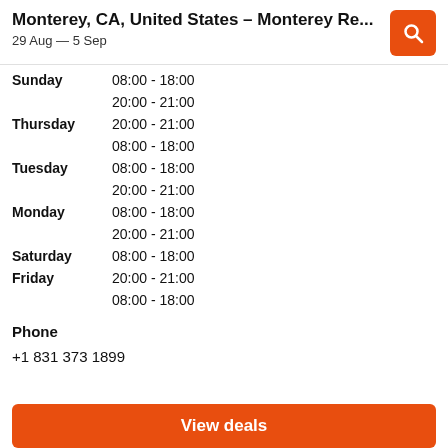Monterey, CA, United States - Monterey Re…
29 Aug — 5 Sep
| Day | Hours |
| --- | --- |
| Sunday | 08:00 - 18:00 |
|  | 20:00 - 21:00 |
| Thursday | 20:00 - 21:00 |
|  | 08:00 - 18:00 |
| Tuesday | 08:00 - 18:00 |
|  | 20:00 - 21:00 |
| Monday | 08:00 - 18:00 |
|  | 20:00 - 21:00 |
| Saturday | 08:00 - 18:00 |
| Friday | 20:00 - 21:00 |
|  | 08:00 - 18:00 |
Phone
+1 831 373 1899
View deals